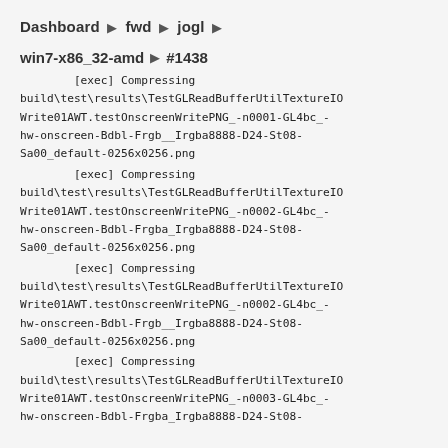Dashboard ▶ fwd ▶ jogl ▶
win7-x86_32-amd ▶ #1438
[exec] Compressing
    build\test\results\TestGLReadBufferUtilTextureIOWrite01AWT.testOnscreenWritePNG_-n0001-GL4bc_-hw-onscreen-Bdbl-Frgb__Irgba8888-D24-St08-Sa00_default-0256x0256.png
[exec] Compressing
    build\test\results\TestGLReadBufferUtilTextureIOWrite01AWT.testOnscreenWritePNG_-n0002-GL4bc_-hw-onscreen-Bdbl-Frgba_Irgba8888-D24-St08-Sa00_default-0256x0256.png
[exec] Compressing
    build\test\results\TestGLReadBufferUtilTextureIOWrite01AWT.testOnscreenWritePNG_-n0002-GL4bc_-hw-onscreen-Bdbl-Frgb__Irgba8888-D24-St08-Sa00_default-0256x0256.png
[exec] Compressing
    build\test\results\TestGLReadBufferUtilTextureIOWrite01AWT.testOnscreenWritePNG_-n0003-GL4bc_-hw-onscreen-Bdbl-Frgba_Irgba8888-D24-St08-